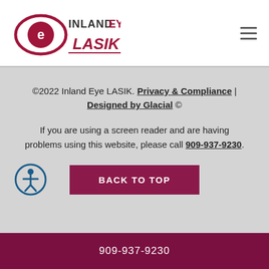Inland Eye LASIK logo and navigation menu
©2022 Inland Eye LASIK. Privacy & Compliance | Designed by Glacial ©
If you are using a screen reader and are having problems using this website, please call 909-937-9230.
[Figure (illustration): Accessibility icon — person in circle outline]
BACK TO TOP
909-937-9230